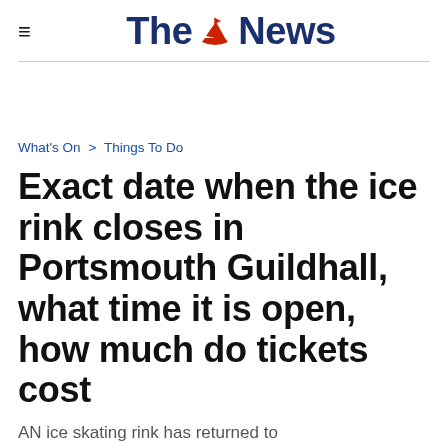≡  The News
What's On  >  Things To Do
Exact date when the ice rink closes in Portsmouth Guildhall, what time it is open, how much do tickets cost
AN ice skating rink has returned to